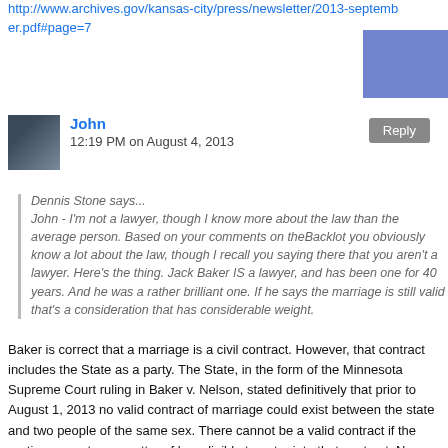http://www.archives.gov/kansas-city/press/newsletter/2013-september.pdf#page=7
John
12:19 PM on August 4, 2013
Dennis Stone says...
John - I'm not a lawyer, though I know more about the law than the average person. Based on your comments on theBacklot you obviously know a lot about the law, though I recall you saying there that you aren't a lawyer. Here's the thing. Jack Baker IS a lawyer, and has been one for 40 years. And he was a rather brilliant one. If he says the marriage is still valid that's a consideration that has considerable weight.
Baker is correct that a marriage is a civil contract. However, that contract includes the State as a party. The State, in the form of the Minnesota Supreme Court ruling in Baker v. Nelson, stated definitively that prior to August 1, 2013 no valid contract of marriage could exist between the state and two people of the same sex. There cannot be a valid contract if the parties are not as a matter of law eligible to enter into that contract. No separate ruling from the state is needed to void the Blue Earth County license because under the court's ruling it is void on its face.
I've officially spent way more time researching this than I had ever intended, but in looking further into the issues surrounding the IRS denial I find that Baker and McConnell did litigate the Blue Earth County marriage license, in McConnell v. Nooner, an attempt to